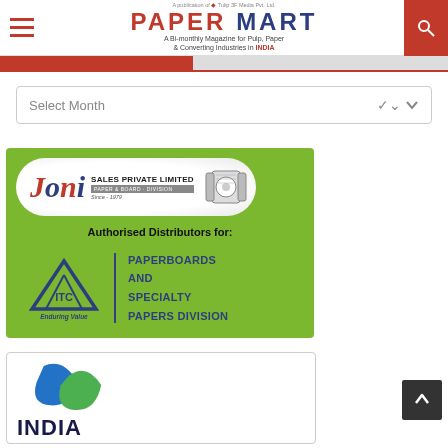PAPER MART - A Bi-monthly Magazine for Pulp, Paper & Converting Industries in INDIA
Select Month
[Figure (advertisement): Joni Sales Private Limited ad - Authorised Distributors for ITC Paperboards and Specialty Papers Division. Green background with Joni logo in white pill shape, ITC logo with triangle icon.]
[Figure (advertisement): Partial advertisement at bottom of page with blue/green logo visible - appears to be IndiaMART or similar company]